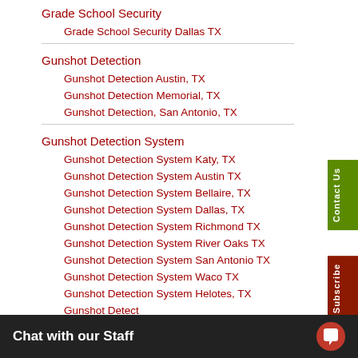Grade School Security
Grade School Security Dallas TX
Gunshot Detection
Gunshot Detection Austin, TX
Gunshot Detection Memorial, TX
Gunshot Detection, San Antonio, TX
Gunshot Detection System
Gunshot Detection System Katy, TX
Gunshot Detection System Austin TX
Gunshot Detection System Bellaire, TX
Gunshot Detection System Dallas, TX
Gunshot Detection System Richmond TX
Gunshot Detection System River Oaks TX
Gunshot Detection System San Antonio TX
Gunshot Detection System Waco TX
Gunshot Detection System Helotes, TX
Gunshot Detect...
Gunshot Detect...